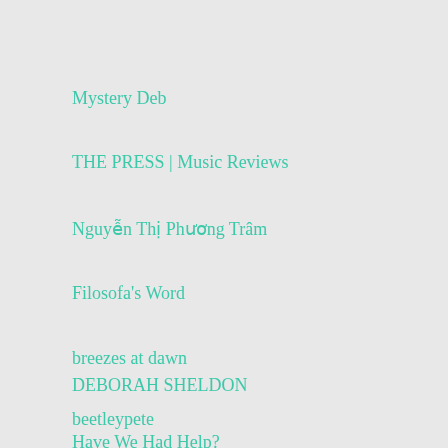Mystery Deb
THE PRESS | Music Reviews
Nguyễn Thị Phương Trâm
Filosofa's Word
breezes at dawn
DEBORAH SHELDON
beetleypete
Have We Had Help?